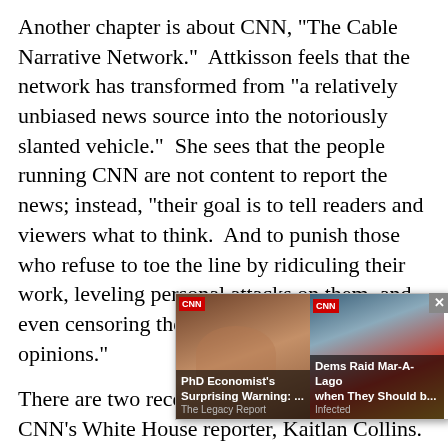Another chapter is about CNN, "The Cable Narrative Network." Attkisson feels that the network has transformed from "a relatively unbiased news source into the notoriously slanted vehicle." She sees that the people running CNN are not content to report the news; instead, "their goal is to tell readers and viewers what to think. And to punish those who refuse to toe the line by ridiculing their work, leveling personal attacks on them, and even censoring their objectionable views and opinions."
There are two recent examples, both involving CNN's White House reporter, Kaitlan Collins. On November 20, White House press secretary Kayleigh McEnany, after taking five questions, walked out of the news conference. Collins screamed at her, then getting a response from McEnany: "I don't call on activists. [text continues, partially obscured] eted, with a pi[cture of Trump to answer h[er]... roud to be part o[f...]
[Figure (screenshot): Overlay advertisement showing two ad cards side by side. Left card: woman in brownish background with text 'PhD Economist's Surprising Warning: ...' with source 'The Legacy Report'. Right card: person (Trump) in blue/gold background with text 'Dems Raid Mar-A-Lago when They Should b...' with source 'Infected'. A close button (x) appears top right.]